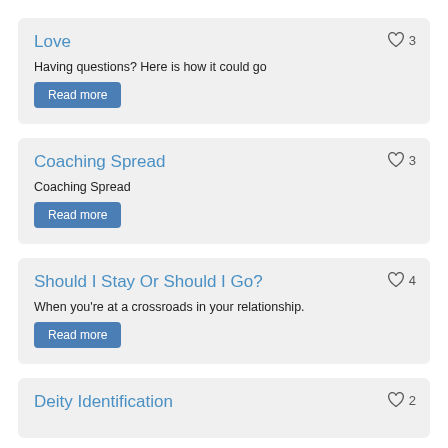Love
Having questions? Here is how it could go
Read more
Coaching Spread
Coaching Spread
Read more
Should I Stay Or Should I Go?
When you're at a crossroads in your relationship.
Read more
Deity Identification